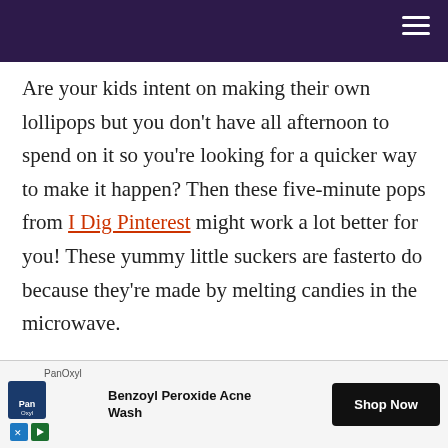Are your kids intent on making their own lollipops but you don't have all afternoon to spend on it so you're looking for a quicker way to make it happen? Then these five-minute pops from I Dig Pinterest might work a lot better for you! These yummy little suckers are fasterto do because they're made by melting candies in the microwave.
[Figure (other): Advertisement banner for PanOxyl Benzoyl Peroxide Acne Wash with Shop Now button]